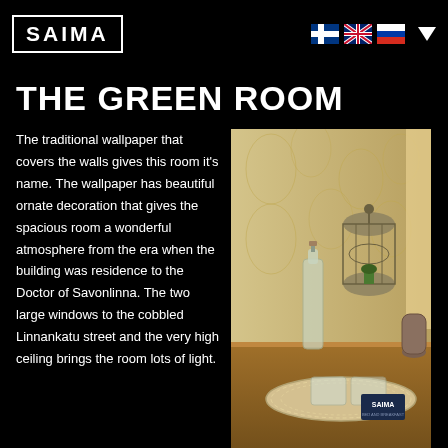[Figure (logo): SAIMA logo in a rectangular border box]
[Figure (illustration): Finnish, UK, and Russian flag icons plus a dropdown arrow in the navigation bar]
THE GREEN ROOM
The traditional wallpaper that covers the walls gives this room it's name. The wallpaper has beautiful ornate decoration that gives the spacious room a wonderful atmosphere from the era when the building was residence to the Doctor of Savonlinna. The two large windows to the cobbled Linnankatu street and the very high ceiling brings the room lots of light.
[Figure (photo): Interior photo of a room showing a decorative birdcage lantern, a glass bottle, glasses on a round tray on a wooden table, with ornate wallpaper in the background. A small SAIMA branded card is visible on the tray.]